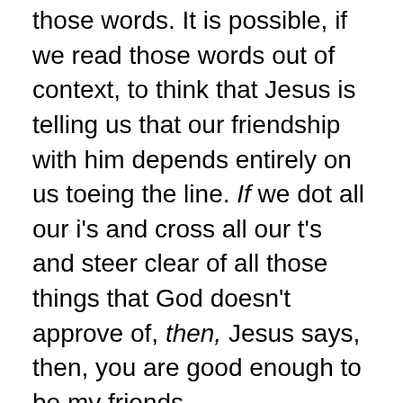back into our scared and insecure childhood with those words. It is possible, if we read those words out of context, to think that Jesus is telling us that our friendship with him depends entirely on us toeing the line. If we dot all our i's and cross all our t's and steer clear of all those things that God doesn't approve of, then, Jesus says, then, you are good enough to be my friends.
But that only makes sense if you take it out of context, because that is not what Jesus is saying at all. First of all, the commandment of Jesus Christ is not and never was a matter of rules and regs. His commandment is the one great standard for living: that we are to love one another, the same way he loves us, the same way the Father loves the S...